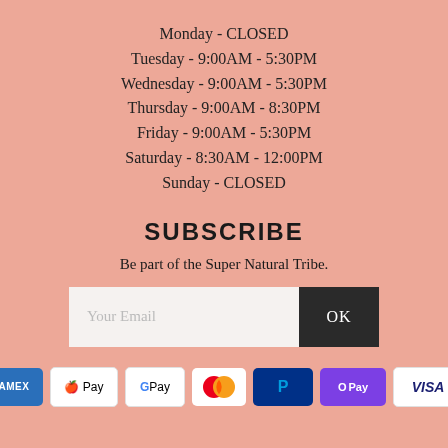Monday - CLOSED
Tuesday - 9:00AM - 5:30PM
Wednesday - 9:00AM - 5:30PM
Thursday - 9:00AM - 8:30PM
Friday - 9:00AM - 5:30PM
Saturday - 8:30AM - 12:00PM
Sunday - CLOSED
SUBSCRIBE
Be part of the Super Natural Tribe.
[Figure (other): Email subscription form with input field labeled 'Your Email' and an OK button]
[Figure (other): Payment method icons: American Express, Apple Pay, Google Pay, Mastercard, PayPal, Shop Pay, Visa]